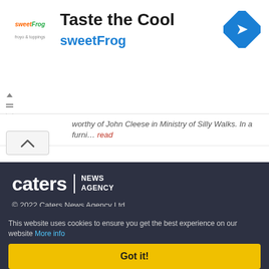[Figure (advertisement): SweetFrog advertisement banner with logo, headline 'Taste the Cool', subline 'sweetFrog', and a blue diamond navigation icon on the right.]
worthy of John Cleese in Ministry of Silly Walks. In a furni... read
[Figure (logo): Caters News Agency logo — bold white 'caters' wordmark with vertical bar and 'NEWS AGENCY' text in white]
© 2022 Caters News Agency Ltd.
[Figure (other): Cyber Essentials badge — dark blue badge with 'CYBER ESSENTIALS' text and a blue checkmark on a white rounded square background]
This website uses cookies to ensure you get the best experience on our website More info
Got it!